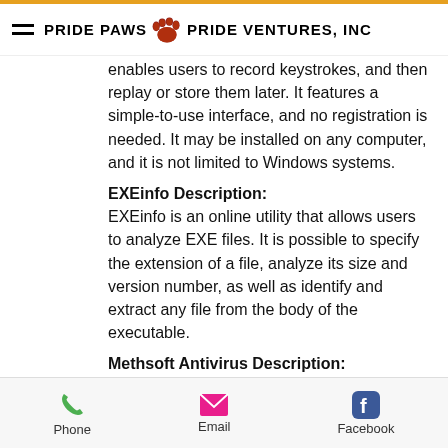PRIDE PAWS | PRIDE VENTURES, INC
enables users to record keystrokes, and then replay or store them later. It features a simple-to-use interface, and no registration is needed. It may be installed on any computer, and it is not limited to Windows systems.
EXEinfo Description:
EXEinfo is an online utility that allows users to analyze EXE files. It is possible to specify the extension of a file, analyze its size and version number, as well as identify and extract any file from the body of the executable.
Methsoft Antivirus Description:
Methsoft Antivirus is a full-featured anti-spyware program developed by this software developer. It is able to detect and eliminate various malware such as viruses, spyware, trojans, dialers, worms, and backdoors. It is
Phone | Email | Facebook